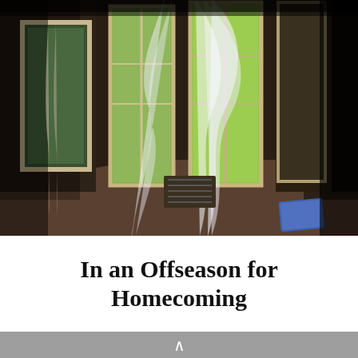[Figure (photo): An abandoned, decaying interior room with tall French windows open, sheer white curtains billowing in the wind, ornate wallpaper, worn carpet, and lush green trees visible outside through the windows. A blue object sits on the floor in the lower right.]
In an Offseason for Homecoming